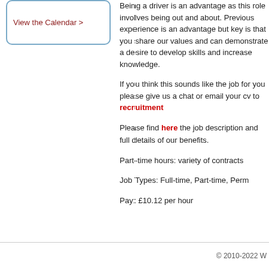View the Calendar >
Being a driver is an advantage as this role involves being out and about. Previous experience is an advantage but key is that you share our values and can demonstrate a desire to develop skills and increase knowledge.
If you think this sounds like the job for you please give us a chat or email your cv to recruitment
Please find here the job description and full details of our benefits.
Part-time hours: variety of contracts
Job Types: Full-time, Part-time, Perm
Pay: £10.12 per hour
© 2010-2022 W